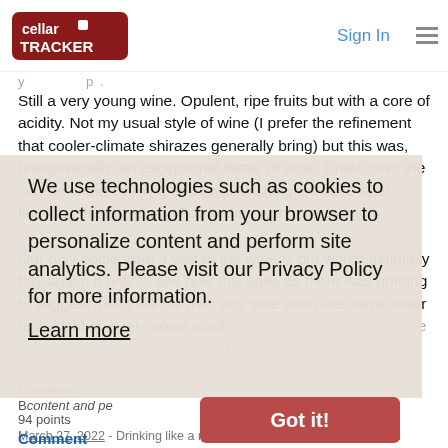CellarTracker | Sign In
Still a very young wine. Opulent, ripe fruits but with a core of acidity. Not my usual style of wine (I prefer the refinement that cooler-climate shirazes generally bring) but this was, unequivocally, an exceptional bottle of wine. Drunk over the course of the evening and I was wishing for more after finishing the last glass. Full-bodied with a long-length.
Our only bottle from a visit to the winery, but would definitely buy again, if only to see how this ages as there was nothing to suggest that it will fall over any time soon like some other high-alcohol, over-oaked points-chasing messes that I have had the misfortune of trying in the past...
We use technologies such as cookies to collect information from your browser to personalize content and perform site analytics. Please visit our Privacy Policy for more information.
Learn more
Got it!
Comment
B content and pe
94 points
March 27, 2022 - Drinking like a new born wine with cascades of lush Barossa-fruit, blackberry galore, some tannnins, a good backbone keeps this upright in spite of the abundance of fruit. It will last long, but it is certainly no crime to enjoy now. #corona
Comment